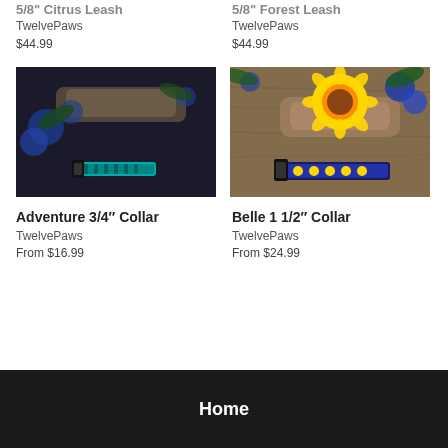TwelvePaws
$44.99
TwelvePaws
$44.99
[Figure (photo): Dog collar with teal/turquoise pattern on dark background with blue flowers and driftwood]
Adventure 3/4" Collar
TwelvePaws
From $16.99
[Figure (photo): Dog collar with blue and yellow sunflower pattern, yellow sunflower and blue flowers on driftwood background]
Belle 1 1/2" Collar
TwelvePaws
From $24.99
Home